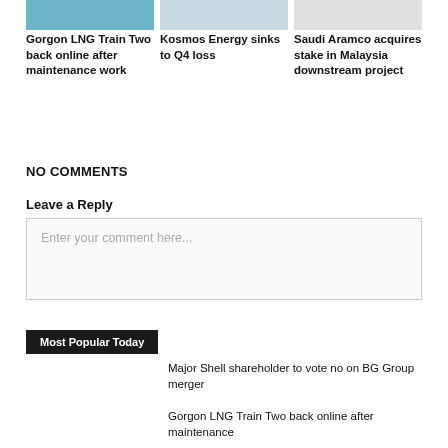[Figure (photo): Partial image of an LNG ship, teal/blue color]
[Figure (photo): Partial image of a person, light blue/grey tones]
[Figure (photo): Partial image, light grey]
Gorgon LNG Train Two back online after maintenance work
Kosmos Energy sinks to Q4 loss
Saudi Aramco acquires stake in Malaysia downstream project
NO COMMENTS
Leave a Reply
Enter your comment here...
Most Popular Today
Major Shell shareholder to vote no on BG Group merger
Gorgon LNG Train Two back online after maintenance